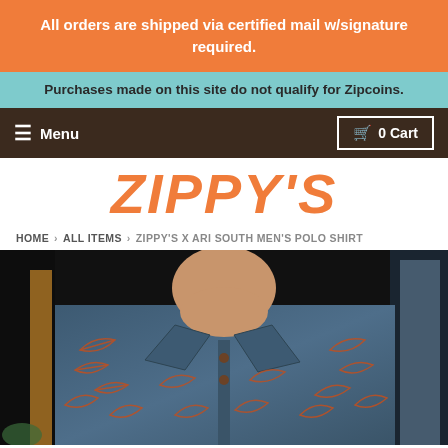All orders are shipped via certified mail w/signature required.
Purchases made on this site do not qualify for Zipcoins.
Menu  0 Cart
ZIPPY'S
HOME › ALL ITEMS › ZIPPY'S X ARI SOUTH MEN'S POLO SHIRT
[Figure (photo): Man wearing a blue polo shirt with orange/red tropical leaf print pattern (Zippy's x Ari South Men's Polo Shirt). Photo is cropped to chest/neck area, showing the collar and button placket.]